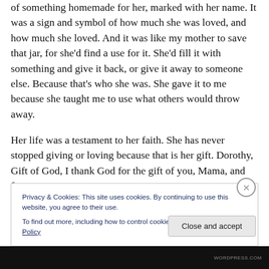of something homemade for her, marked with her name. It was a sign and symbol of how much she was loved, and how much she loved. And it was like my mother to save that jar, for she'd find a use for it. She'd fill it with something and give it back, or give it away to someone else. Because that's who she was. She gave it to me because she taught me to use what others would throw away.
Her life was a testament to her faith. She has never stopped giving or loving because that is her gift. Dorothy, Gift of God, I thank God for the gift of you, Mama, and for
Privacy & Cookies: This site uses cookies. By continuing to use this website, you agree to their use.
To find out more, including how to control cookies, see here: Cookie Policy
Close and accept